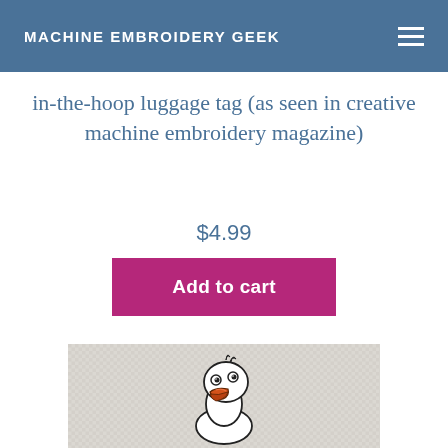MACHINE EMBROIDERY GEEK
in-the-hoop luggage tag (as seen in creative machine embroidery magazine)
$4.99
Add to cart
[Figure (photo): Close-up photo of embroidered duck/bird face with orange beak on white fabric/mesh material]